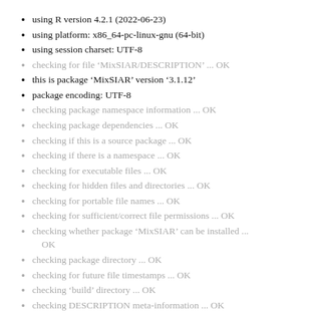using R version 4.2.1 (2022-06-23)
using platform: x86_64-pc-linux-gnu (64-bit)
using session charset: UTF-8
checking for file ‘MixSIAR/DESCRIPTION’ ... OK
this is package ‘MixSIAR’ version ‘3.1.12’
package encoding: UTF-8
checking package namespace information ... OK
checking package dependencies ... OK
checking if this is a source package ... OK
checking if there is a namespace ... OK
checking for executable files ... OK
checking for hidden files and directories ... OK
checking for portable file names ... OK
checking for sufficient/correct file permissions ... OK
checking whether package ‘MixSIAR’ can be installed ... OK
checking package directory ... OK
checking for future file timestamps ... OK
checking ‘build’ directory ... OK
checking DESCRIPTION meta-information ... OK
checking top-level files ... OK
checking for left-over files ... OK
checking index information ... OK
checking package subdirectories ... OK